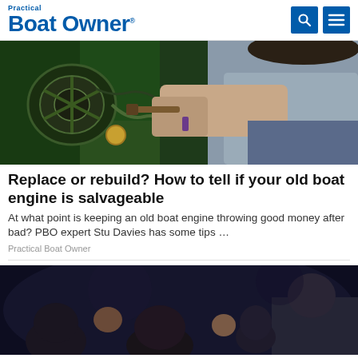Practical Boat Owner
[Figure (photo): Person working on a boat engine, hands visible with brushes and tools, green engine components visible]
Replace or rebuild? How to tell if your old boat engine is salvageable
At what point is keeping an old boat engine throwing good money after bad? PBO expert Stu Davies has some tips …
Practical Boat Owner
[Figure (photo): Dark scene with people in the background, heads visible against a dark background]